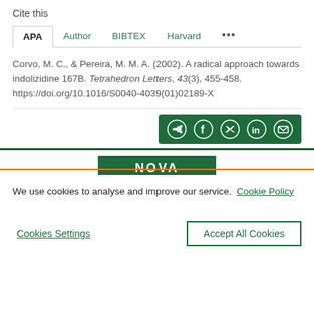Cite this
APA  Author  BIBTEX  Harvard  ...
Corvo, M. C., & Pereira, M. M. A. (2002). A radical approach towards indolizidine 167B. Tetrahedron Letters, 43(3), 455-458. https://doi.org/10.1016/S0040-4039(01)02189-X
[Figure (other): Share button bar with icons for share, Facebook, Twitter, LinkedIn, and email on green background]
[Figure (logo): NOVA logo in white text on green background]
We use cookies to analyse and improve our service. Cookie Policy
Cookies Settings
Accept All Cookies